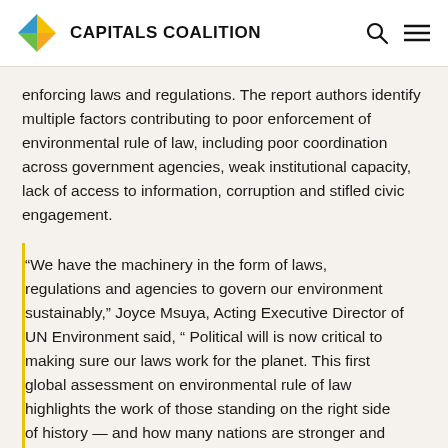CAPITALS COALITION
enforcing laws and regulations. The report authors identify multiple factors contributing to poor enforcement of environmental rule of law, including poor coordination across government agencies, weak institutional capacity, lack of access to information, corruption and stifled civic engagement.
“We have the machinery in the form of laws, regulations and agencies to govern our environment sustainably,” Joyce Msuya, Acting Executive Director of UN Environment said, “ Political will is now critical to making sure our laws work for the planet. This first global assessment on environmental rule of law highlights the work of those standing on the right side of history — and how many nations are stronger and safer as a result.”